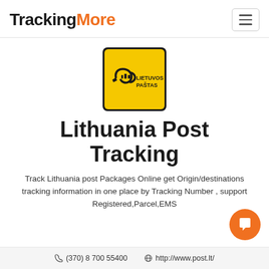TrackingMore
[Figure (logo): Lietuvos Paštas yellow square logo with postal horn icon and text LIETUVOS PAŠTAS]
Lithuania Post Tracking
Track Lithuania post Packages Online get Origin/destinations tracking information in one place by Tracking Number , support Registered,Parcel,EMS
(370) 8 700 55400   http://www.post.lt/